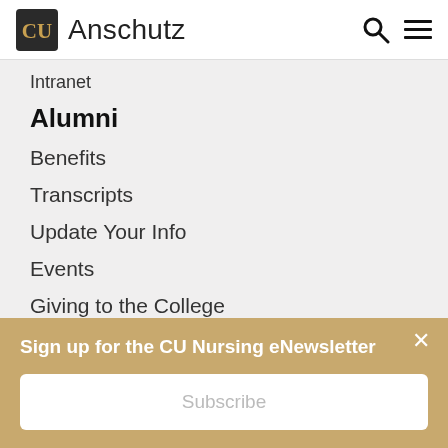CU Anschutz
Intranet
Alumni
Benefits
Transcripts
Update Your Info
Events
Giving to the College
Continuing Education
General
Sign up for the CU Nursing eNewsletter
Subscribe